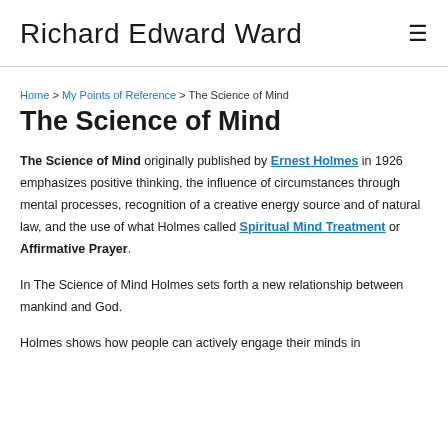Richard Edward Ward
Home > My Points of Reference > The Science of Mind
The Science of Mind
The Science of Mind originally published by Ernest Holmes in 1926 emphasizes positive thinking, the influence of circumstances through mental processes, recognition of a creative energy source and of natural law, and the use of what Holmes called Spiritual Mind Treatment or Affirmative Prayer.
In The Science of Mind Holmes sets forth a new relationship between mankind and God.
Holmes shows how people can actively engage their minds in